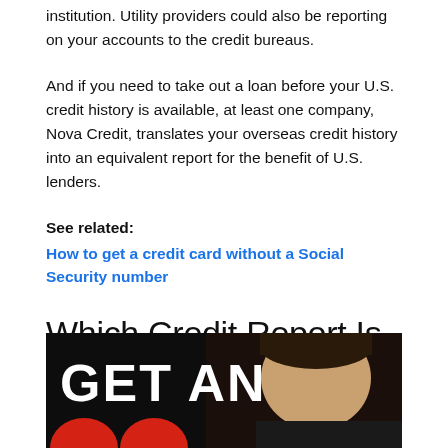institution. Utility providers could also be reporting on your accounts to the credit bureaus.
And if you need to take out a loan before your U.S. credit history is available, at least one company, Nova Credit, translates your overseas credit history into an equivalent report for the benefit of U.S. lenders.
See related:
How to get a credit card without a Social Security number
Which Credit Report Is Most Accurate
[Figure (photo): Black background image with large white bold text reading 'GET AN' and partial red circles at the bottom, with a person's face visible on the right side]